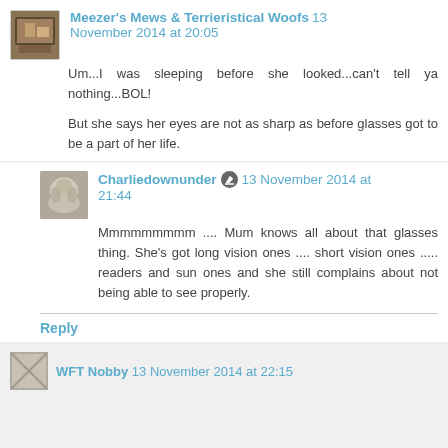Meezer's Mews & Terrieristical Woofs  13 November 2014 at 20:05
Um...I was sleeping before she looked...can't tell ya nothing...BOL!
But she says her eyes are not as sharp as before glasses got to be a part of her life.
Charliedownunder  13 November 2014 at 21:44
Mmmmmmmmm .... Mum knows all about that glasses thing. She's got long vision ones .... short vision ones ..... readers and sun ones and she still complains about not being able to see properly.
Reply
WFT Nobby  13 November 2014 at 22:15